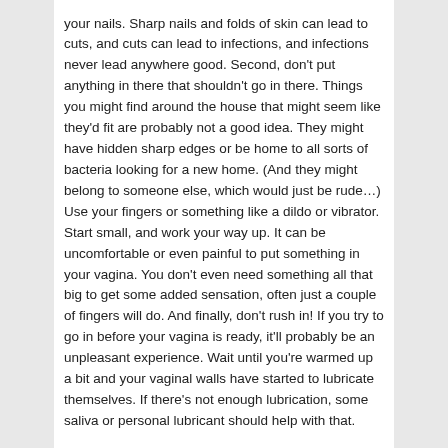your nails.  Sharp nails and folds of skin can lead to cuts, and cuts can lead to infections, and infections never lead anywhere good.  Second, don't put anything in there that shouldn't go in there.  Things you might find around the house that might seem like they'd fit are probably not a good idea.  They might have hidden sharp edges or be home to all sorts of bacteria looking for a new home.  (And they might belong to someone else, which would just be rude…)  Use your fingers or something like a dildo or vibrator.  Start small, and work your way up.  It can be uncomfortable or even painful to put something in your vagina.  You don't even need something all that big to get some added sensation, often just a couple of fingers will do.  And finally, don't rush in!  If you try to go in before your vagina is ready, it'll probably be an unpleasant experience.  Wait until you're warmed up a bit and your vaginal walls have started to lubricate themselves.  If there's not enough lubrication, some saliva or personal lubricant should help with that.
What you do once you're in there is up to you.  You might enjoy moving your fingers (or whatever) in and out